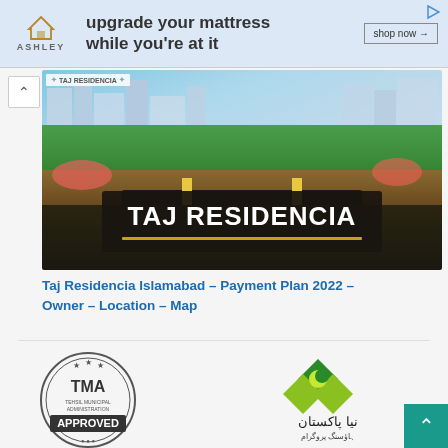[Figure (illustration): Ashley Furniture advertisement banner with house logo, text 'upgrade your mattress while you're at it', and 'shop now →' button]
[Figure (photo): Aerial/perspective rendering of Taj Residencia housing development in Islamabad, showing buildings, greenery, entrance gate, with 'TAJ RESIDENCIA' text overlay and gold underline]
Taj Residencia Islamabad – Payment Plan 2022 – Owner – Location – Map
[Figure (logo): TMA (Tehsil Municipal Authority) APPROVED circular seal/stamp logo]
[Figure (logo): Naya Pakistan Housing Programme logo with diamond shapes in green and yellow, Urdu text, and crescent moon symbol]